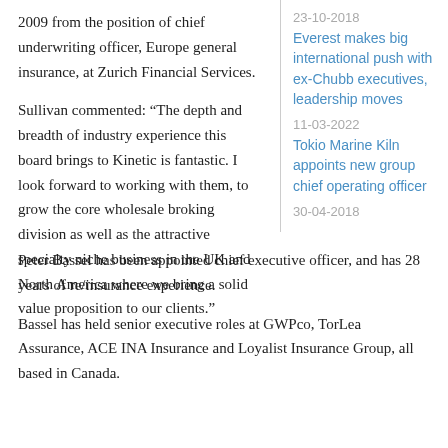2009 from the position of chief underwriting officer, Europe general insurance, at Zurich Financial Services.
23-10-2018
Everest makes big international push with ex-Chubb executives, leadership moves
11-03-2022
Tokio Marine Kiln appoints new group chief operating officer
30-04-2018
Sullivan commented: “The depth and breadth of industry experience this board brings to Kinetic is fantastic. I look forward to working with them, to grow the core wholesale broking division as well as the attractive specialty niche business in the UK and North America where we bring a solid value proposition to our clients.”
Peter Bassel has been appointed chief executive officer, and has 28 years of re/insurance experience.
Bassel has held senior executive roles at GWPco, TorLea Assurance, ACE INA Insurance and Loyalist Insurance Group, all based in Canada.